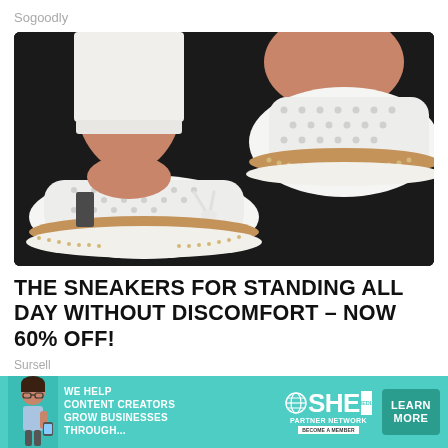Sogoodly
[Figure (photo): Close-up photo of person wearing white perforated slip-on sneakers with tan/brown espadrille-style soles, paired with white cropped pants, on a dark pavement background]
THE SNEAKERS FOR STANDING ALL DAY WITHOUT DISCOMFORT – NOW 60% OFF!
Sursell
[Figure (photo): Partial photo of person wearing black clothing, cropped, second advertisement item]
[Figure (infographic): SHE Partner Network advertisement banner: 'WE HELP CONTENT CREATORS GROW BUSINESSES THROUGH...' with SHE media logo, PARTNER NETWORK text, BECOME A MEMBER badge, and LEARN MORE button]